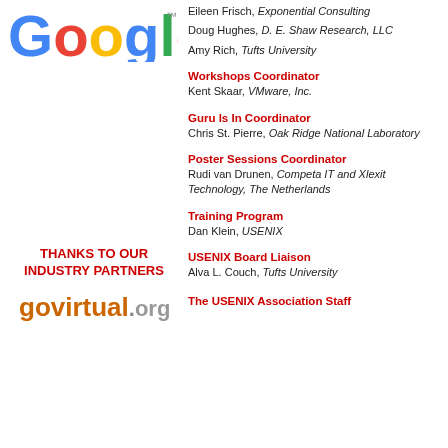[Figure (logo): Google logo in multicolor letters]
Eileen Frisch, Exponential Consulting
Doug Hughes, D. E. Shaw Research, LLC
Amy Rich, Tufts University
Workshops Coordinator
Kent Skaar, VMware, Inc.
Guru Is In Coordinator
Chris St. Pierre, Oak Ridge National Laboratory
Poster Sessions Coordinator
Rudi van Drunen, Competa IT and Xlexit Technology, The Netherlands
THANKS TO OUR INDUSTRY PARTNERS
[Figure (logo): govirtual.org logo]
Training Program
Dan Klein, USENIX
USENIX Board Liaison
Alva L. Couch, Tufts University
The USENIX Association Staff
THANKS TO OUR MEDIA SPONSORS